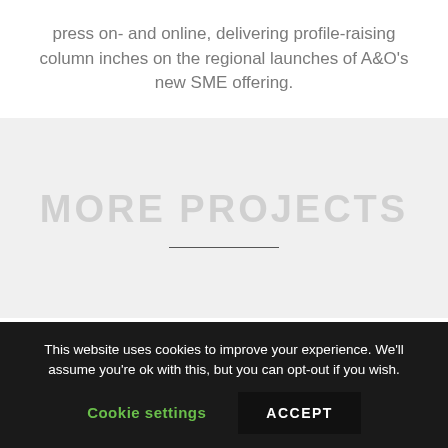press on- and online, delivering profile-raising column inches on the regional launches of A&O's new SME offering.
MORE PROJECTS
This website uses cookies to improve your experience. We'll assume you're ok with this, but you can opt-out if you wish.
Cookie settings
ACCEPT